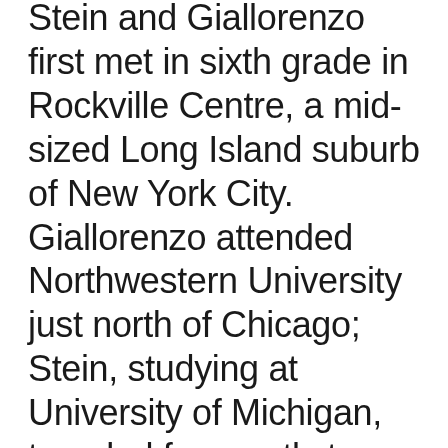Stein and Giallorenzo first met in sixth grade in Rockville Centre, a mid-sized Long Island suburb of New York City. Giallorenzo attended Northwestern University just north of Chicago; Stein, studying at University of Michigan, traveled frequently to Chicago before graduation, then moved there in the early 2000s. Each settled quickly into the city's burgeoning jazz/new-music environment, which by then was attracting attention throughout North America and Europe.
They first performed in the format that